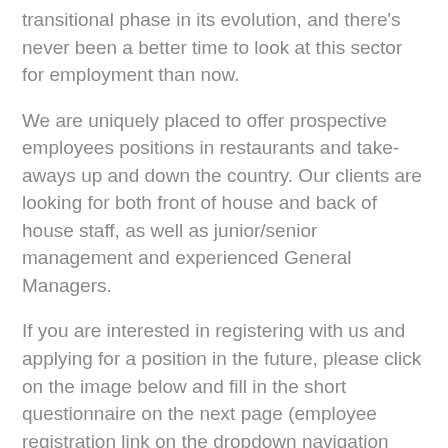transitional phase in its evolution, and there's never been a better time to look at this sector for employment than now.
We are uniquely placed to offer prospective employees positions in restaurants and take-aways up and down the country. Our clients are looking for both front of house and back of house staff, as well as junior/senior management and experienced General Managers.
If you are interested in registering with us and applying for a position in the future, please click on the image below and fill in the short questionnaire on the next page (employee registration link on the dropdown navigation above).